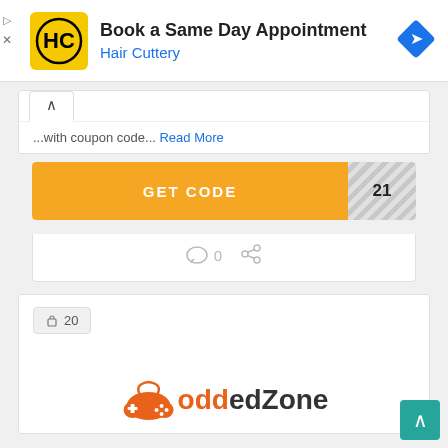[Figure (logo): Hair Cuttery ad banner with HC logo, text 'Book a Same Day Appointment / Hair Cuttery', and blue navigation diamond icon]
...with coupon code... Read More
GET CODE  21
0 (comment icon) (share icon)
🔒 20
[Figure (logo): ModdedZone logo with orange game controller icon and orange/black text 'ModdedZone']